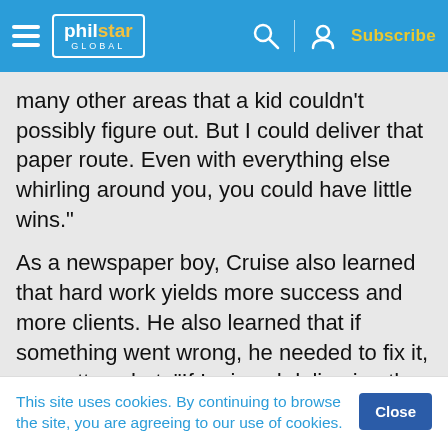philstar GLOBAL — Subscribe
many other areas that a kid couldn’t possibly figure out. But I could deliver that paper route. Even with everything else whirling around you, you could have little wins.”
As a newspaper boy, Cruise also learned that hard work yields more success and more clients. He also learned that if something went wrong, he needed to fix it, no matter what. “If I missed delivering the paper to a certain house one day, it was “…
This site uses cookies. By continuing to browse the site, you are agreeing to our use of cookies.